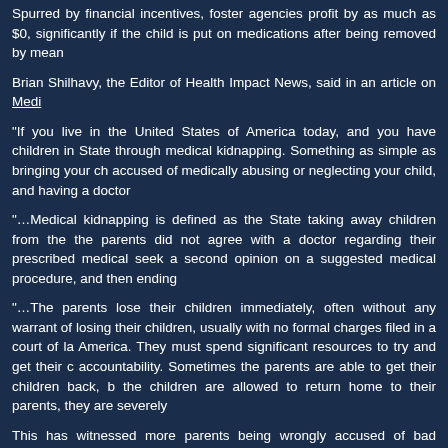Spurred by financial incentives, foster agencies profit by as much as $0, significantly if the child is put on medications after being removed by mean
Brian Shilhavy, the Editor of Health Impact News, said in an article on Medi
"If you live in the United States of America today, and you have children in State through medical kidnapping. Something as simple as bringing your ch accused of medically abusing or neglecting your child, and having a doctor
"...Medical kidnapping is defined as the State taking away children from the the parents did not agree with a doctor regarding their prescribed medical seek a second opinion on a suggested medical procedure, and then ending
"...The parents lose their children immediately, often without any warrant of losing their children, usually with no formal charges filed in a court of la America. They must spend significant resources to try and get their c accountability. Sometimes the parents are able to get their children back, b the children are allowed to return home to their parents, they are severely
This has witnessed more parents being wrongly accused of bad parentin comeuppance for these unwarranted placements of children into care, ther
Judge Mark Brian from the Arizona Judicial Branch government made an ac
"If you are removing a child in a Contrary to Welfare finding, that order is n you're forfeiting federal funds."
He also indicated that it was not the responsibility of the family court to fur